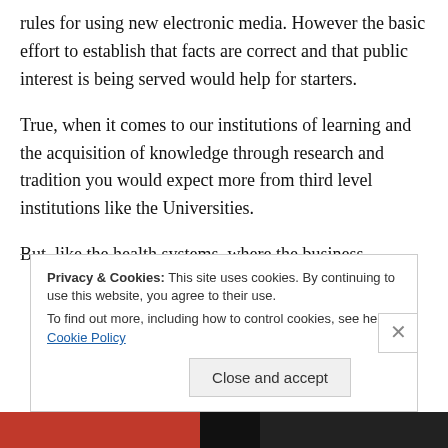rules for using new electronic media. However the basic effort to establish that facts are correct and that public interest is being served would help for starters.
True, when it comes to our institutions of learning and the acquisition of knowledge through research and tradition you would expect more from third level institutions like the Universities.
But, like the health systems, where the business
Privacy & Cookies: This site uses cookies. By continuing to use this website, you agree to their use.
To find out more, including how to control cookies, see here: Cookie Policy